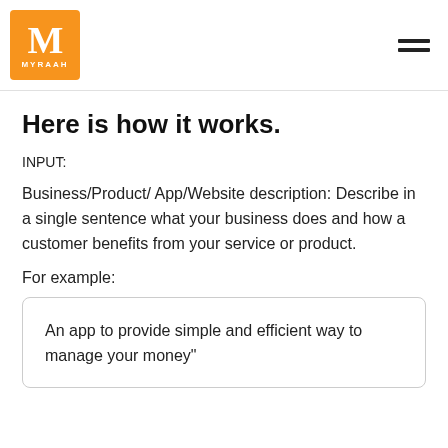MYRAAH
Here is how it works.
INPUT:
Business/Product/ App/Website description: Describe in a single sentence what your business does and how a customer benefits from your service or product.
For example:
An app to provide simple and efficient way to manage your money"